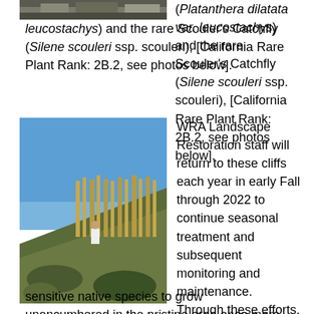[Figure (photo): Top portion of a photo showing rocky terrain with vegetation, partially visible at the top of the page.]
(Platanthera dilatata var. leucostachys) and the rare Scouler's Catchfly (Silene scouleri ssp. scouleri), [California Rare Plant Rank: 2B.2, see photos below].
[Figure (photo): Photo of a hillside with tall dry grasses and shrubs under a blue sky, with a person visible among the vegetation.]
WRA Landscape Restoration staff will return to these cliffs each year in early Fall through 2022 to continue seasonal treatment and subsequent monitoring and maintenance. Through these efforts, natural biodiversity is expected to rebound, allowing for sensitive native species to grow unencumbered in the pristine area once more.